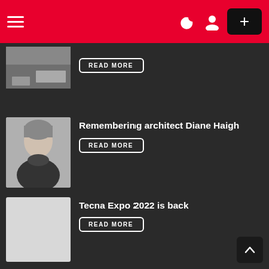Navigation header with hamburger menu, moon icon, user icon, and plus button
[Figure (photo): Partial photo visible at top — appears to be an architectural/interior scene]
READ MORE
[Figure (photo): Portrait photo of a woman with short grey hair wearing a dark turtleneck — Diane Haigh]
Remembering architect Diane Haigh
READ MORE
[Figure (photo): Light gray placeholder image for Tecna Expo 2022 article]
Tecna Expo 2022 is back
READ MORE